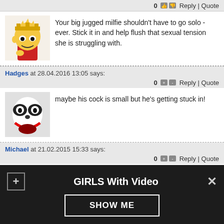[Figure (screenshot): Comment section from a website showing user comments with avatars, vote counts, reply and quote links, and a popup bar at the bottom for 'GIRLS With Video' with a SHOW ME button.]